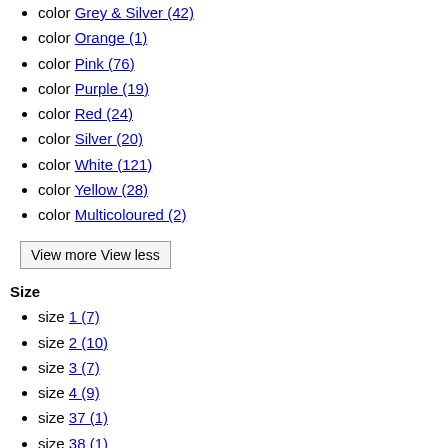color Grey & Silver (42)
color Orange (1)
color Pink (76)
color Purple (19)
color Red (24)
color Silver (20)
color White (121)
color Yellow (28)
color Multicoloured (2)
View more View less
Size
size 1 (7)
size 2 (10)
size 3 (7)
size 4 (9)
size 37 (1)
size 38 (1)
size 39 (1)
size 40 (1)
size 43 (1)
size 44 (1)
size 45 (1)